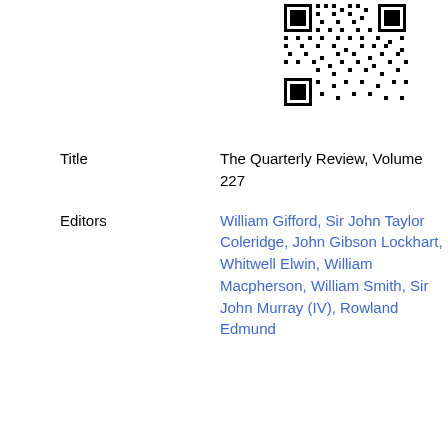[Figure (other): QR code in upper right area of the page]
Title
The Quarterly Review, Volume 227
Editors
William Gifford, Sir John Taylor Coleridge, John Gibson Lockhart, Whitwell Elwin, William Macpherson, William Smith, Sir John Murray (IV), Rowland Edmund